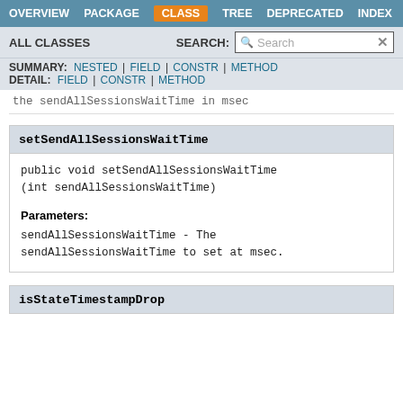OVERVIEW  PACKAGE  CLASS  TREE  DEPRECATED  INDEX
ALL CLASSES   SEARCH:
SUMMARY: NESTED | FIELD | CONSTR | METHOD  DETAIL: FIELD | CONSTR | METHOD
the sendAllSessionsWaitTime in msec
setSendAllSessionsWaitTime
public void setSendAllSessionsWaitTime
(int sendAllSessionsWaitTime)
Parameters:
sendAllSessionsWaitTime - The sendAllSessionsWaitTime to set at msec.
isStateTimestampDrop